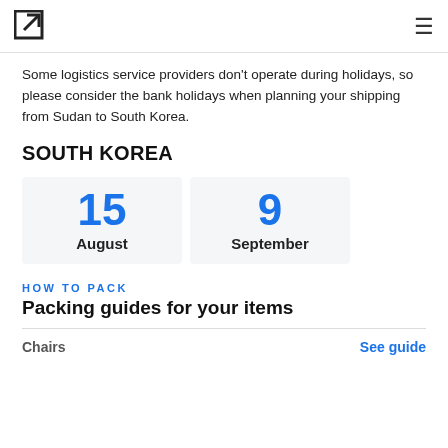[Logo icon] [Hamburger menu]
Some logistics service providers don't operate during holidays, so please consider the bank holidays when planning your shipping from Sudan to South Korea.
SOUTH KOREA
[Figure (infographic): Two date cards showing holiday dates: 15 August and 9 September]
HOW TO PACK
Packing guides for your items
Chairs — See guide